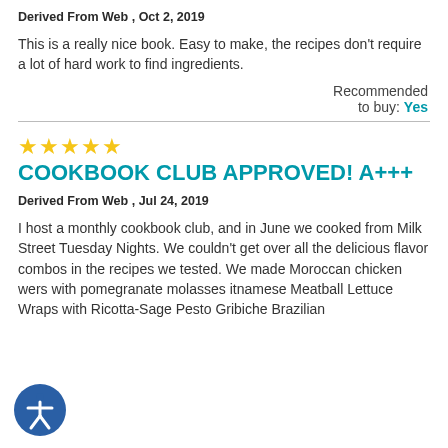Derived From Web , Oct 2, 2019
This is a really nice book. Easy to make, the recipes don't require a lot of hard work to find ingredients.
Recommended to buy: Yes
COOKBOOK CLUB APPROVED! A+++
Derived From Web , Jul 24, 2019
I host a monthly cookbook club, and in June we cooked from Milk Street Tuesday Nights. We couldn't get over all the delicious flavor combos in the recipes we tested. We made Moroccan chicken wers with pomegranate molasses itnamese Meatball Lettuce Wraps with Ricotta-Sage Pesto Gribiche Brazilian
[Figure (illustration): Accessibility icon: white figure on dark blue circle background]